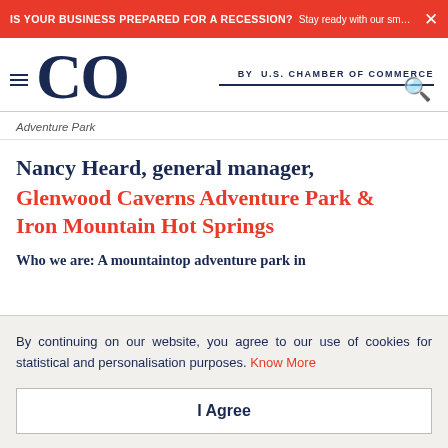IS YOUR BUSINESS PREPARED FOR A RECESSION? Stay ready with our small busin...
CO by U.S. CHAMBER OF COMMERCE
Adventure Park
Nancy Heard, general manager, Glenwood Caverns Adventure Park & Iron Mountain Hot Springs
Who we are: A mountaintop adventure park in
By continuing on our website, you agree to our use of cookies for statistical and personalisation purposes. Know More
I Agree